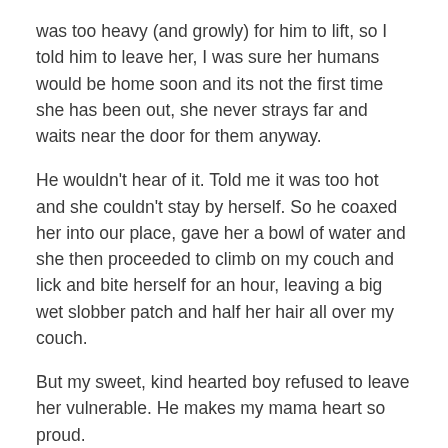was too heavy (and growly) for him to lift, so I told him to leave her, I was sure her humans would be home soon and its not the first time she has been out, she never strays far and waits near the door for them anyway.
He wouldn't hear of it. Told me it was too hot and she couldn't stay by herself. So he coaxed her into our place, gave her a bowl of water and she then proceeded to climb on my couch and lick and bite herself for an hour, leaving a big wet slobber patch and half her hair all over my couch.
But my sweet, kind hearted boy refused to leave her vulnerable. He makes my mama heart so proud.
Here's to a new school year. May it be as awesome as my children are!